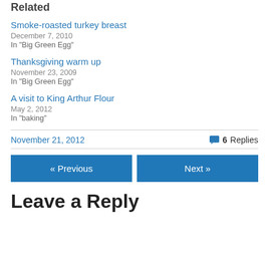Related
Smoke-roasted turkey breast
December 7, 2010
In "Big Green Egg"
Thanksgiving warm up
November 23, 2009
In "Big Green Egg"
A visit to King Arthur Flour
May 2, 2012
In "baking"
November 21, 2012    6 Replies
« Previous    Next »
Leave a Reply